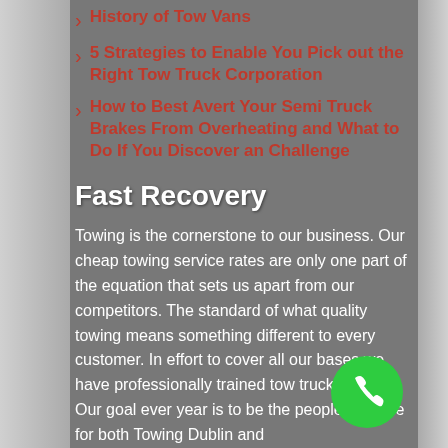History of Tow Vans
5 Strategies to Enable You Pick out the Right Tow Truck Corporation
How to Best Avert Your Semi Truck Brakes From Overheating and What to Do If You Discover an Challenge
Fast Recovery
Towing is the cornerstone to our business. Our cheap towing service rates are only one part of the equation that sets us apart from our competitors. The standard of what quality towing means something different to every customer. In effort to cover all our bases we have professionally trained tow truck drivers. Our goal ever year is to be the people's choice for both Towing Dublin and